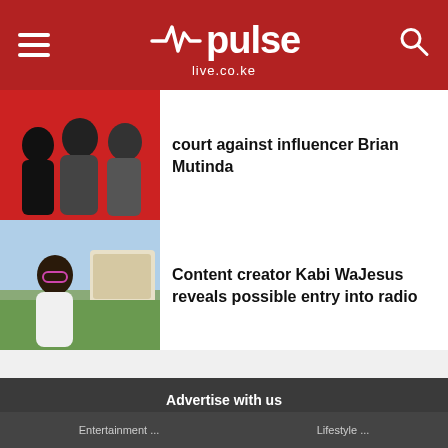pulse live.co.ke
court against influencer Brian Mutinda
Content creator Kabi WaJesus reveals possible entry into radio
Advertise with us
Reach out to us at salesteam@pulse.co.ke or +254113897895 to advertise with us. Find out more about Pulse's products and advertising opportunities at pulse.africa
Entertainment ... Lifestyle ...